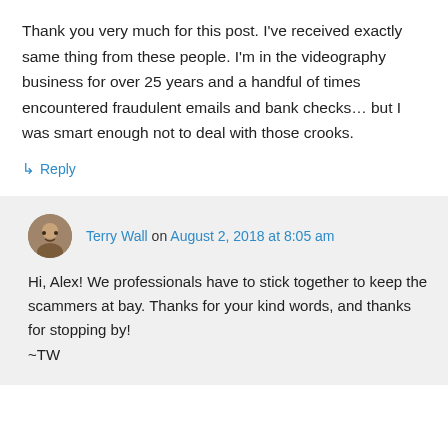Thank you very much for this post. I've received exactly same thing from these people. I'm in the videography business for over 25 years and a handful of times encountered fraudulent emails and bank checks… but I was smart enough not to deal with those crooks.
↳ Reply
Terry Wall on August 2, 2018 at 8:05 am
Hi, Alex! We professionals have to stick together to keep the scammers at bay. Thanks for your kind words, and thanks for stopping by!
~TW